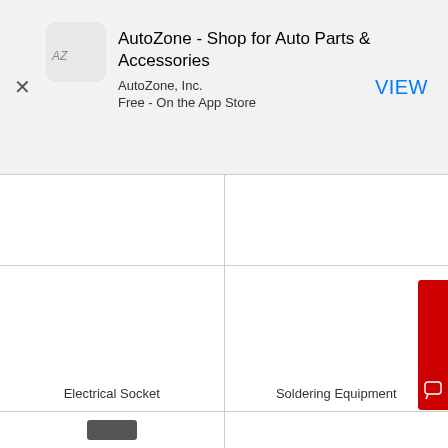[Figure (screenshot): AutoZone app store banner with AZ logo icon, app title, company name, price, and VIEW button]
Electrical Socket
Soldering Equipment
[Figure (photo): Partial product image visible at bottom of page, dark colored item]
[Figure (other): NEED HELP? vertical red button with chat icon on right edge]